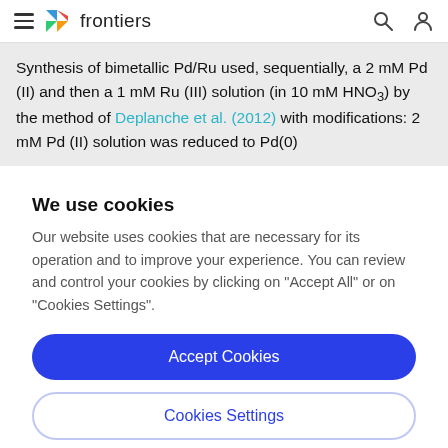frontiers
Synthesis of bimetallic Pd/Ru used, sequentially, a 2 mM Pd (II) and then a 1 mM Ru (III) solution (in 10 mM HNO3) by the method of Deplanche et al. (2012) with modifications: 2 mM Pd (II) solution was reduced to Pd(0)
We use cookies
Our website uses cookies that are necessary for its operation and to improve your experience. You can review and control your cookies by clicking on "Accept All" or on "Cookies Settings".
Accept Cookies
Cookies Settings